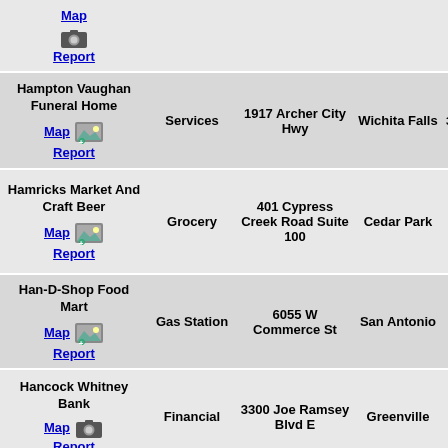| Name | Type | Address | City | License |
| --- | --- | --- | --- | --- |
| (Map/Report) | Services | 1917 Archer City Hwy | Wichita Falls | 30.06 & 30.07 Sig |
| Hampton Vaughan Funeral Home
Map / Report | Services | 1917 Archer City Hwy | Wichita Falls | 30.06 & 30.07 Sig |
| Hamricks Market And Craft Beer
Map / Report | Grocery | 401 Cypress Creek Road Suite 100 | Cedar Park | 51% Sig |
| Han-D-Shop Food Mart
Map / Report | Gas Station | 6055 W Commerce St | San Antonio | 30.07 Sig |
| Hancock Whitney Bank
Map / Report | Financial | 3300 Joe Ramsey Blvd E | Greenville | 30.07 Sig |
| Hancock Whitney Bank |  |  |  |  |